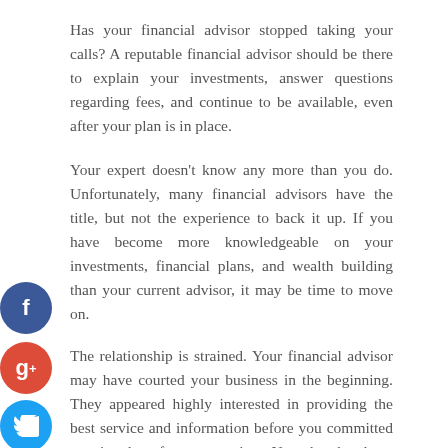Has your financial advisor stopped taking your calls? A reputable financial advisor should be there to explain your investments, answer questions regarding fees, and continue to be available, even after your plan is in place.
Your expert doesn't know any more than you do. Unfortunately, many financial advisors have the title, but not the experience to back it up. If you have become more knowledgeable on your investments, financial plans, and wealth building than your current advisor, it may be time to move on.
The relationship is strained. Your financial advisor may have courted your business in the beginning. They appeared highly interested in providing the best service and information before you committed to using them for your services. Now that they have your business and a plethora of higher paying clients, you are no longer important. Their time is devoted to others and you are feeling ignored.